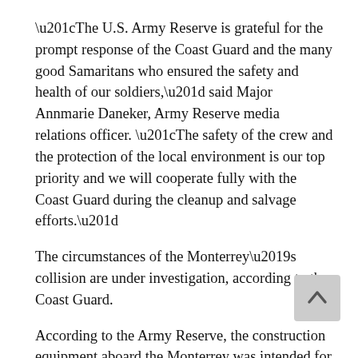“The U.S. Army Reserve is grateful for the prompt response of the Coast Guard and the many good Samaritans who ensured the safety and health of our soldiers,” said Major Annmarie Daneker, Army Reserve media relations officer. “The safety of the crew and the protection of the local environment is our top priority and we will cooperate fully with the Coast Guard during the cleanup and salvage efforts.”
The circumstances of the Monterrey’s collision are under investigation, according to the Coast Guard.
According to the Army Reserve, the construction equipment aboard the Monterrey was intended for use on a federal project to move the villagers of Newtok to Mertarvik, about nine miles away. The permafrost foundation under Newtok is crumbling, melting and eroding as Alaska’s climate heats up, making the village uninhabitable.
Newtok, a Yupik village of about 400 people, lies on the Ninglick River near Alaska’s west coast, 400 miles from the